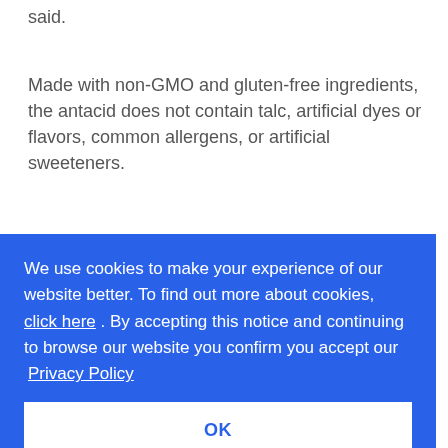said.
Made with non-GMO and gluten-free ingredients, the antacid does not contain talc, artificial dyes or flavors, common allergens, or artificial sweeteners.
Inspired by co-founder Lucas Kraft's journey with an eating disorder and subsequently suffering from
[Figure (screenshot): Cookie consent banner with blue background. Text reads: 'We use cookies to make your experience of our website better. To find out more about cookies, click here. By accepting this notice and continuing to browse our website you confirm you accept our Privacy Policy'. White OK button at bottom.]
ucts
ke,
ly
ails